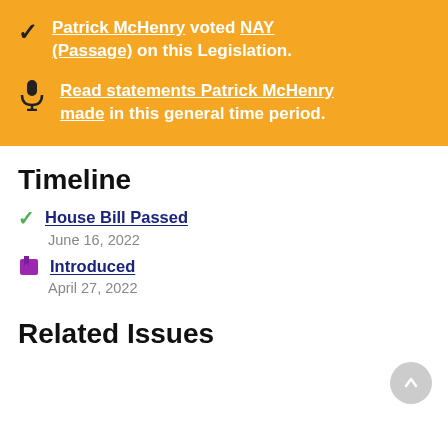Patrick McHenry voted NAY (Passage) on this Legislation.
Read statements Patrick McHenry made in this general time period.
Timeline
House Bill Passed — June 16, 2022
Introduced — April 27, 2022
Related Issues